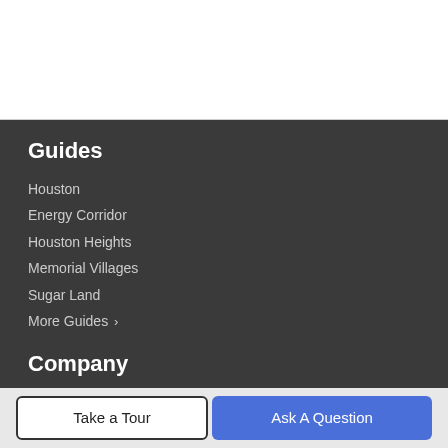Guides
Houston
Energy Corridor
Houston Heights
Memorial Villages
Sugar Land
More Guides >
Company
Meet The Team
Our Blog
Contact Us
Take a Tour | Ask A Question